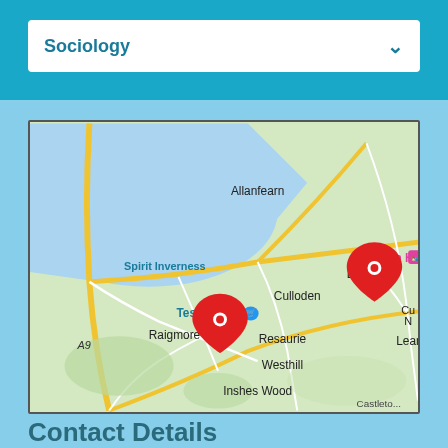Sociology
[Figure (map): Google Maps view of Inverness area showing locations near Culloden, Raigmore, Balloch, Tesco Extra, Allanfearn, Resaurie, Westhill, Inshes Wood, and Leanach. Two red map pins visible — one near Raigmore and one near Balloch.]
Contact Details